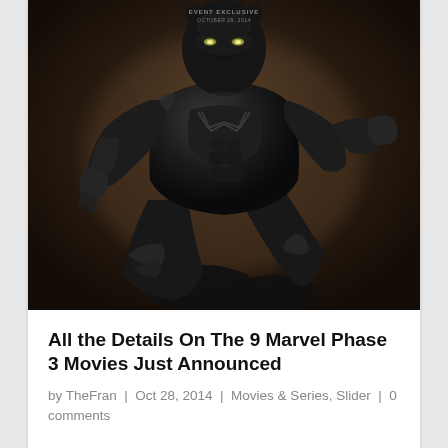[Figure (illustration): Concept art of Black Panther in a dark, dynamic crouching pose wearing a black armored suit with claw details, against a smoky dark brown background. Small text at top reads 'EVENT EXCLUSIVE OCTOBER 28, 2014'.]
All the Details On The 9 Marvel Phase 3 Movies Just Announced
by TheFran | Oct 28, 2014 | Movies & Series, Slider | 0 comments